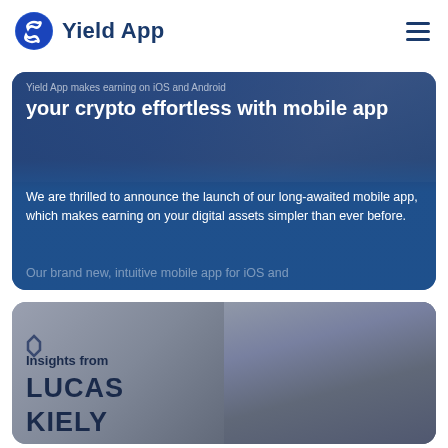Yield App
Yield App makes earning on iOS and Android your crypto effortless with mobile app
We are thrilled to announce the launch of our long-awaited mobile app, which makes earning on your digital assets simpler than ever before.
Our brand new, intuitive mobile app for iOS and
[Figure (photo): Insights from LUCAS KIELY card with a man's face visible on the right side]
Insights from LUCAS KIELY